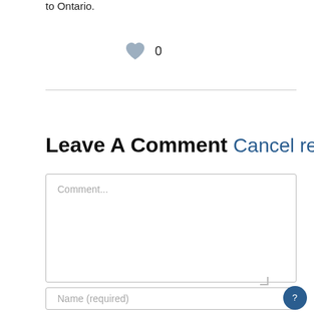to Ontario.
[Figure (illustration): Heart/like icon (grey filled heart shape) followed by the number 0]
Leave A Comment Cancel reply
Comment...
Name (required)